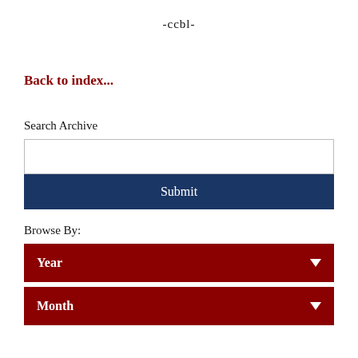-ccbl-
Back to index...
Search Archive
Submit
Browse By:
Year
Month